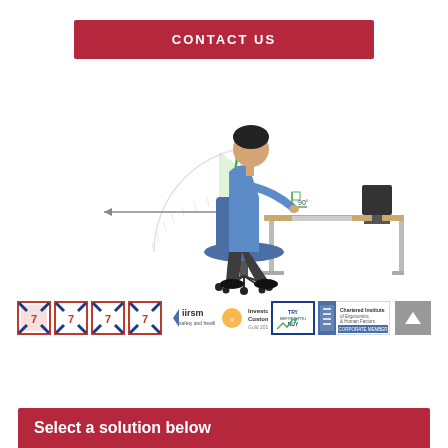CONTACT US
[Figure (illustration): Person sitting at a desk with correct ergonomic posture, showing spine alignment with a protractor angle diagram and a right-angle indicator near the elbows. An arrow points left indicating monitor distance.]
[Figure (logo): Row of certification and accreditation logos: multiple award badges, iirsm logo, Investor in Customers Gold 2016, Try Before You Buy badge, Chartered Institute logo with Corporate Member text.]
Select a solution below